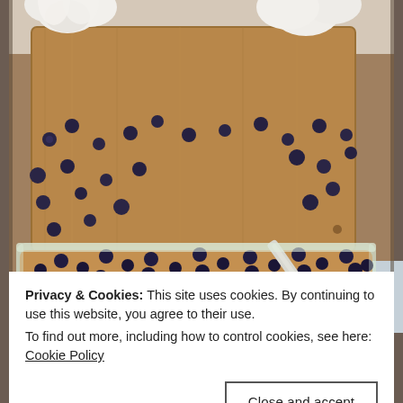[Figure (photo): Food photography showing a glass baking dish filled with a blueberry and almond french toast bake or bread pudding, topped with sliced almonds and blueberries. A butter knife rests across the dish. In the background is a wooden cutting board scattered with fresh blueberries and white flowers (peonies). The scene is styled on a blue floral cloth.]
Privacy & Cookies: This site uses cookies. By continuing to use this website, you agree to their use.
To find out more, including how to control cookies, see here:
Cookie Policy
Close and accept